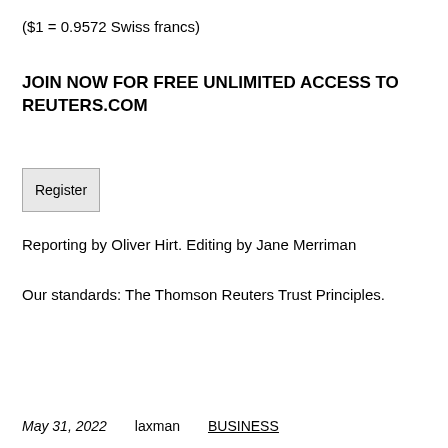($1 = 0.9572 Swiss francs)
JOIN NOW FOR FREE UNLIMITED ACCESS TO REUTERS.COM
[Figure (other): Register button — a rectangular button with light grey background and border, labeled 'Register']
Reporting by Oliver Hirt. Editing by Jane Merriman
Our standards: The Thomson Reuters Trust Principles.
May 31, 2022    laxman    BUSINESS